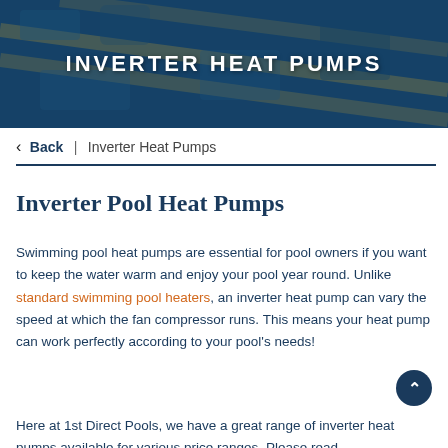[Figure (photo): Hero banner with a blue-tinted overhead photo of a swimming pool with lane lines. White uppercase text 'INVERTER HEAT PUMPS' overlaid in the center.]
< Back | Inverter Heat Pumps
Inverter Pool Heat Pumps
Swimming pool heat pumps are essential for pool owners if you want to keep the water warm and enjoy your pool year round. Unlike standard swimming pool heaters, an inverter heat pump can vary the speed at which the fan compressor runs. This means your heat pump can work perfectly according to your pool's needs!
Here at 1st Direct Pools, we have a great range of inverter heat pumps available for various price ranges. Please read